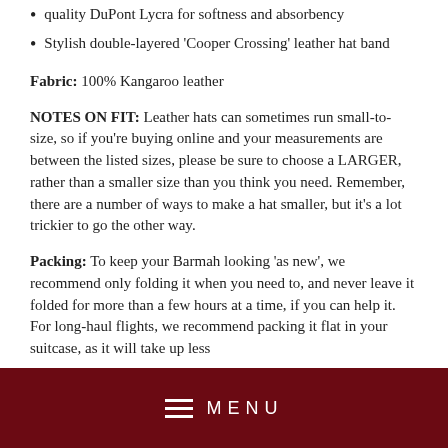quality DuPont Lycra for softness and absorbency
Stylish double-layered 'Cooper Crossing' leather hat band
Fabric: 100% Kangaroo leather
NOTES ON FIT: Leather hats can sometimes run small-to-size, so if you're buying online and your measurements are between the listed sizes, please be sure to choose a LARGER, rather than a smaller size than you think you need. Remember, there are a number of ways to make a hat smaller, but it's a lot trickier to go the other way.
Packing: To keep your Barmah looking 'as new', we recommend only folding it when you need to, and never leave it folded for more than a few hours at a time, if you can help it. For long-haul flights, we recommend packing it flat in your suitcase, as it will take up less
MENU